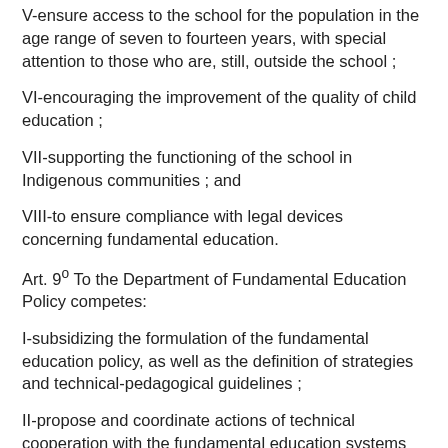V-ensure access to the school for the population in the age range of seven to fourteen years, with special attention to those who are, still, outside the school ;
VI-encouraging the improvement of the quality of child education ;
VII-supporting the functioning of the school in Indigenous communities ; and
VIII-to ensure compliance with legal devices concerning fundamental education.
Art. 9º To the Department of Fundamental Education Policy competes:
I-subsidizing the formulation of the fundamental education policy, as well as the definition of strategies and technical-pedagogical guidelines ;
II-propose and coordinate actions of technical cooperation with the fundamental education systems targeting their effective development and by ensuring the training of the education for the exercise of citizenship ; and
III-propose and support the articulation with governmental